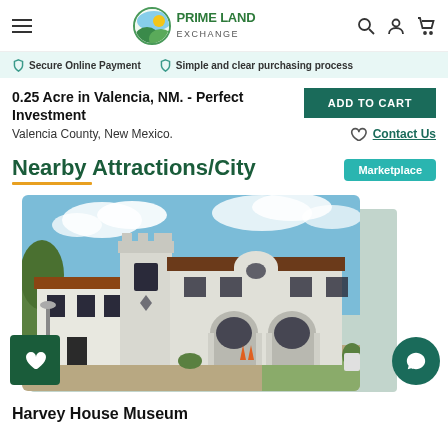Prime Land Exchange — navigation bar with hamburger menu, logo, search, account, cart icons
Secure Online Payment   Simple and clear purchasing process
0.25 Acre in Valencia, NM. - Perfect Investment
Valencia County, New Mexico.
ADD TO CART
Contact Us
Nearby Attractions/City
Marketplace
[Figure (photo): Photograph of Harvey House Museum — a white Spanish Colonial Revival style building with arched entrances, a square tower, and red-tiled roof, under a blue sky with clouds]
Harvey House Museum